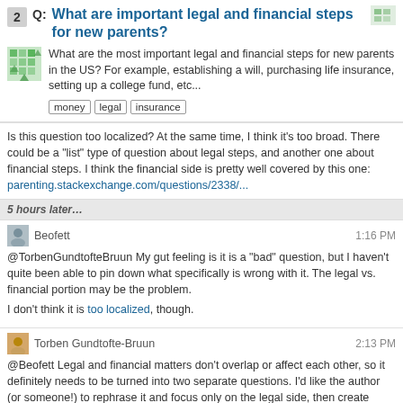Q: What are important legal and financial steps for new parents?
What are the most important legal and financial steps for new parents in the US? For example, establishing a will, purchasing life insurance, setting up a college fund, etc...
money
legal
insurance
Is this question too localized? At the same time, I think it's too broad. There could be a "list" type of question about legal steps, and another one about financial steps. I think the financial side is pretty well covered by this one: parenting.stackexchange.com/questions/2338/...
5 hours later...
Beofett 1:16 PM
@TorbenGundtofteBruun My gut feeling is it is a "bad" question, but I haven't quite been able to pin down what specifically is wrong with it. The legal vs. financial portion may be the problem.

I don't think it is too localized, though.
Torben Gundtofte-Bruun 2:13 PM
@Beofett Legal and financial matters don't overlap or affect each other, so it definitely needs to be turned into two separate questions. I'd like the author (or someone!) to rephrase it and focus only on the legal side, then create another question that focuses on financials. If done that way, the linked "money" question doesn't address it well so many new answers can be given.

I'd volunteer but today work and home are demanding all of my time.
Aarthi Devanathan 2:36 PM
I say we have plenty of financial questions that aren't so open-ended.